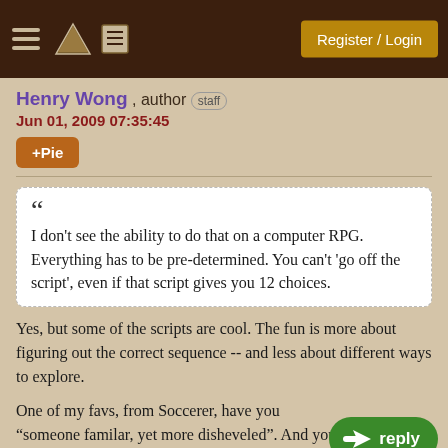Register / Login
Henry Wong , author staff
Jun 01, 2009 07:35:45
+Pie
““ I don't see the ability to do that on a computer RPG. Everything has to be pre-determined. You can't 'go off the script', even if that script gives you 12 choices.
Yes, but some of the scripts are cool. The fun is more about figuring out the correct sequence -- and less about different ways to explore.
One of my favs, from Soccerer, have you "someone familar, yet more disheveled". And you must work with this person.... half way through the puzzle,